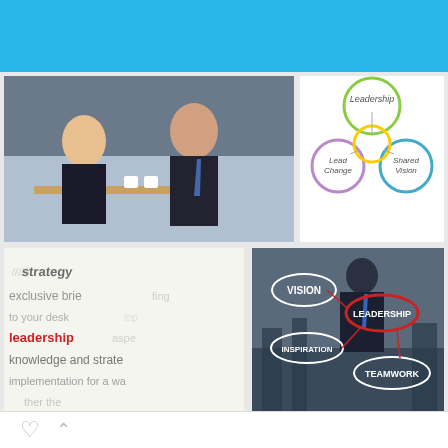[Figure (screenshot): Mobile image search interface showing search results for 'leadership' keyword with 6 image thumbnails in a grid layout]
leadership
All Images